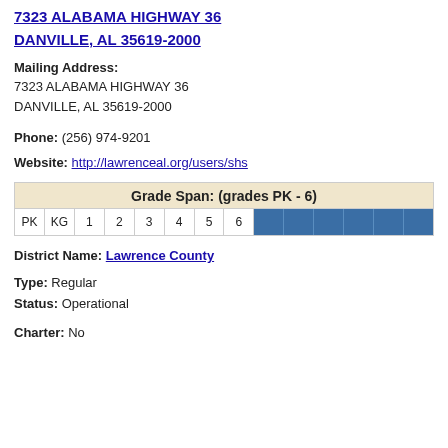7323 ALABAMA HIGHWAY 36
DANVILLE, AL 35619-2000
Mailing Address: 7323 ALABAMA HIGHWAY 36
DANVILLE, AL 35619-2000
Phone: (256) 974-9201
Website: http://lawrenceal.org/users/shs
[Figure (infographic): Grade Span: (grades PK - 6) with cells for PK, KG, 1, 2, 3, 4, 5, 6 shown in white, and additional blue filled cells extending to the right]
District Name: Lawrence County
Type: Regular
Status: Operational
Charter: No